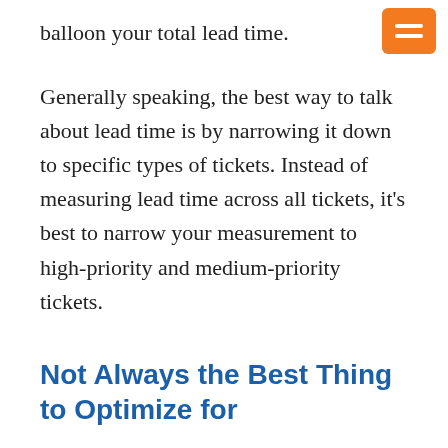balloon your total lead time.
Generally speaking, the best way to talk about lead time is by narrowing it down to specific types of tickets. Instead of measuring lead time across all tickets, it's best to narrow your measurement to high-priority and medium-priority tickets.
Not Always the Best Thing to Optimize for
This might seem counterintuitive, but it's true: you don't always want to optimize for lead time. Running a software team is a careful balance of coordinating what